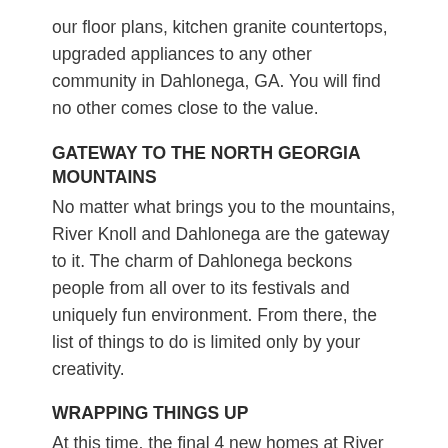our floor plans, kitchen granite countertops, upgraded appliances to any other community in Dahlonega, GA. You will find no other comes close to the value.
GATEWAY TO THE NORTH GEORGIA MOUNTAINS
No matter what brings you to the mountains, River Knoll and Dahlonega are the gateway to it. The charm of Dahlonega beckons people from all over to its festivals and uniquely fun environment. From there, the list of things to do is limited only by your creativity.
WRAPPING THINGS UP
At this time, the final 4 new homes at River Knoll are under contract and nearing completion. We would love to have you be part of